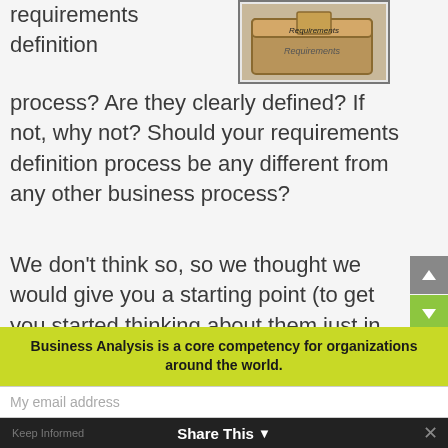requirements definition
[Figure (photo): A cardboard box labeled 'Requirements' on a surface]
process? Are they clearly defined? If not, why not? Should your requirements definition process be any different from any other business process?
We don't think so, so we thought we would give you a starting point (to get you started thinking about them just in case you haven't clearly defined your requirements for the deliverables of this critical business process yet. In case you have, we will give
Business Analysis is a core competency for organizations around the world.
My email address
Share This